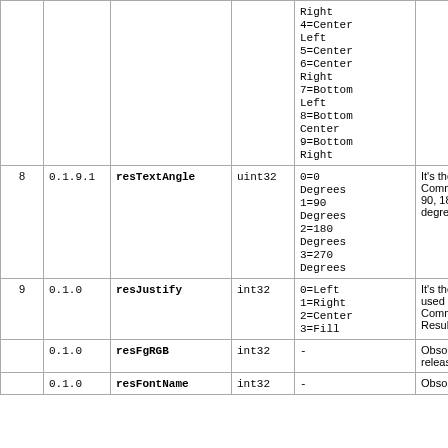| # | Version | Name | Type | Values | Description |
| --- | --- | --- | --- | --- | --- |
|  |  |  |  | Right
4=Center Left
5=Center
6=Center Right
7=Bottom Left
8=Bottom Center
9=Bottom Right |  |
| 8 | 0.1.9.1 | resTextAngle | uint32 | 0=0 Degrees
1=90 Degrees
2=180 Degrees
3=270 Degrees | It's the rota the Comm Results La 90, 180, 2 degrees) |
| 9 | 0.1.0 | resJustify | int32 | 0=Left
1=Right
2=Center
3=Fill | It's the justificatio used with Command Results la |
|  | 0.1.0 | resFgRGB | int32 | - | Obsoleted release >=0.1.9.1 |
|  | 0.1.0 | resFontName | int32 | - | Obsoleted |